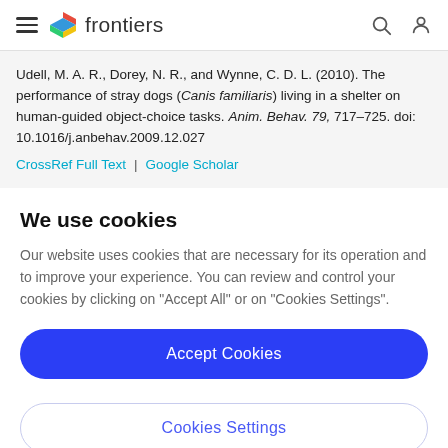frontiers
Udell, M. A. R., Dorey, N. R., and Wynne, C. D. L. (2010). The performance of stray dogs (Canis familiaris) living in a shelter on human-guided object-choice tasks. Anim. Behav. 79, 717–725. doi: 10.1016/j.anbehav.2009.12.027
CrossRef Full Text | Google Scholar
We use cookies
Our website uses cookies that are necessary for its operation and to improve your experience. You can review and control your cookies by clicking on "Accept All" or on "Cookies Settings".
Accept Cookies
Cookies Settings